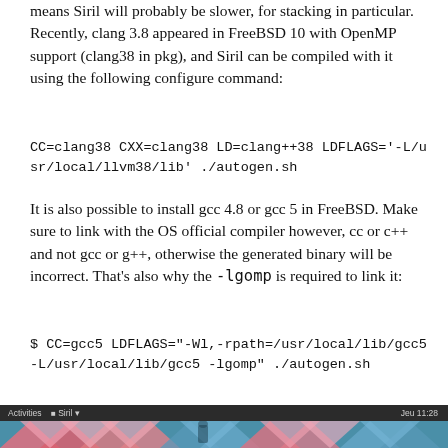means Siril will probably be slower, for stacking in particular. Recently, clang 3.8 appeared in FreeBSD 10 with OpenMP support (clang38 in pkg), and Siril can be compiled with it using the following configure command:
It is also possible to install gcc 4.8 or gcc 5 in FreeBSD. Make sure to link with the OS official compiler however, cc or c++ and not gcc or g++, otherwise the generated binary will be incorrect. That's also why the -lgomp is required to link it:
[Figure (screenshot): Screenshot of a desktop application (Siril) with dark taskbar showing Activities and Siril menu on the left and time on the right, with a colorful image below.]